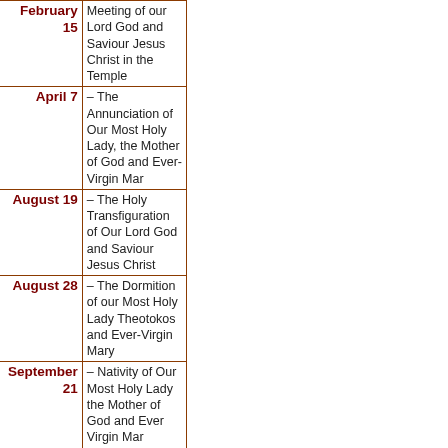| Date | Feast |
| --- | --- |
| February 15 | Meeting of our Lord God and Saviour Jesus Christ in the Temple |
| April 7 | – The Annunciation of Our Most Holy Lady, the Mother of God and Ever-Virgin Mar |
| August 19 | – The Holy Transfiguration of Our Lord God and Saviour Jesus Christ |
| August 28 | – The Dormition of our Most Holy Lady Theotokos and Ever-Virgin Mary |
| September 21 | – Nativity of Our Most Holy Lady the Mother of God and Ever Virgin Mar |
|  | – The Universal |